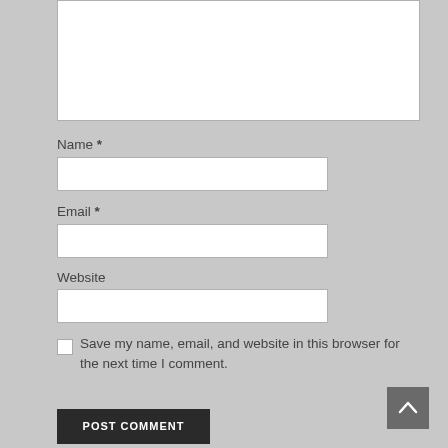[Figure (screenshot): Comment textarea (white resizable text input box)]
Name *
[Figure (screenshot): Name text input field (white box)]
Email *
[Figure (screenshot): Email text input field (white box)]
Website
[Figure (screenshot): Website text input field (white box)]
[Figure (screenshot): Checkbox (unchecked)]
Save my name, email, and website in this browser for the next time I comment.
POST COMMENT
[Figure (screenshot): Back to top button with upward chevron arrow]